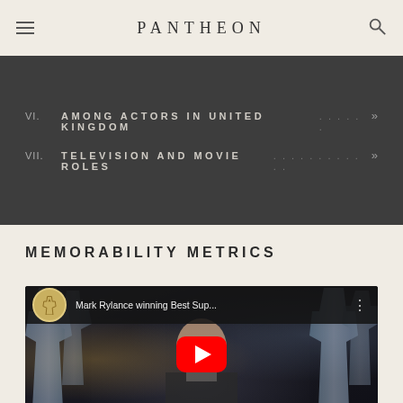PANTHEON
VI.  AMONG ACTORS IN UNITED KINGDOM . . . . . . »
VII. TELEVISION AND MOVIE ROLES . . . . . . . . . . . . »
MEMORABILITY METRICS
[Figure (screenshot): YouTube video thumbnail showing Mark Rylance winning Best Supporting Actor at the Oscars, with the video title 'Mark Rylance winning Best Sup...' and a red YouTube play button in the center.]